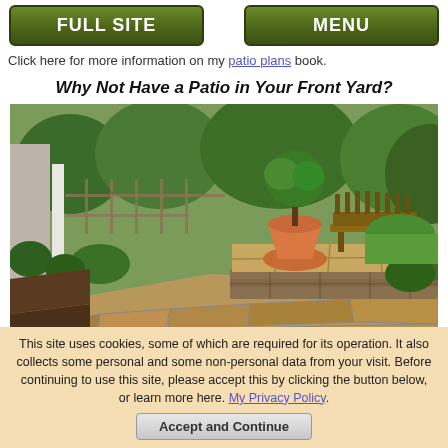FULL SITE | MENU
Click here for more information on my patio plans book.
Why Not Have a Patio in Your Front Yard?
[Figure (photo): A flagstone patio in a front yard with a wooden bench, a potted tree in a terracotta pot, stone retaining walls, lush green plants and bushes, and a house with white columns in the background.]
This site uses cookies, some of which are required for its operation. It also collects some personal and some non-personal data from your visit. Before continuing to use this site, please accept this by clicking the button below, or learn more here. My Privacy Policy.
Accept and Continue